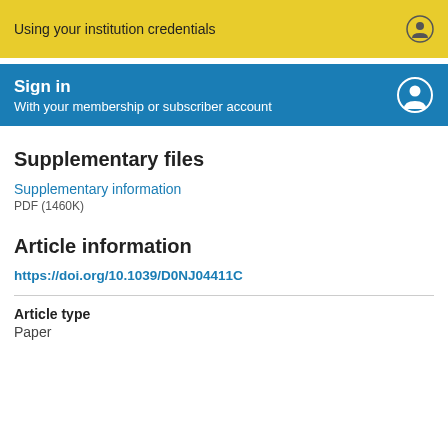Using your institution credentials
Sign in
With your membership or subscriber account
Supplementary files
Supplementary information
PDF (1460K)
Article information
https://doi.org/10.1039/D0NJ04411C
Article type
Paper